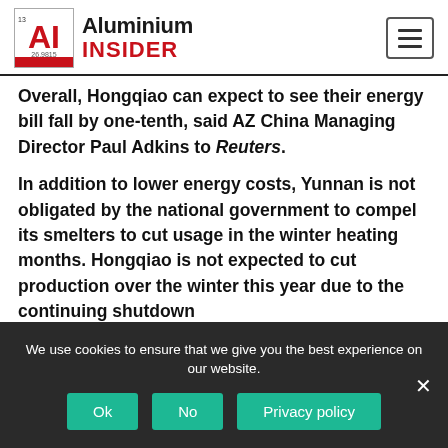Aluminium Insider
Overall, Hongqiao can expect to see their energy bill fall by one-tenth, said AZ China Managing Director Paul Adkins to Reuters.
In addition to lower energy costs, Yunnan is not obligated by the national government to compel its smelters to cut usage in the winter heating months. Hongqiao is not expected to cut production over the winter this year due to the continuing shutdown
We use cookies to ensure that we give you the best experience on our website.